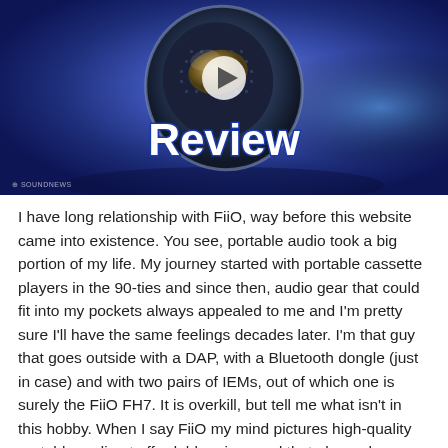[Figure (photo): Close-up photo of a FiiO earphone/IEM on a blue background with a play button overlay and 'Review' text in large white outlined font. A 'SoundNews' watermark is visible in the lower left.]
I have long relationship with FiiO, way before this website came into existence. You see, portable audio took a big portion of my life. My journey started with portable cassette players in the 90-ties and since then, audio gear that could fit into my pockets always appealed to me and I'm pretty sure I'll have the same feelings decades later. I'm that guy that goes outside with a DAP, with a Bluetooth dongle (just in case) and with two pairs of IEMs, out of which one is surely the FiiO FH7. It is overkill, but tell me what isn't in this hobby. When I say FiiO my mind pictures high-quality portable audio at affordable prices and that always have been the case.